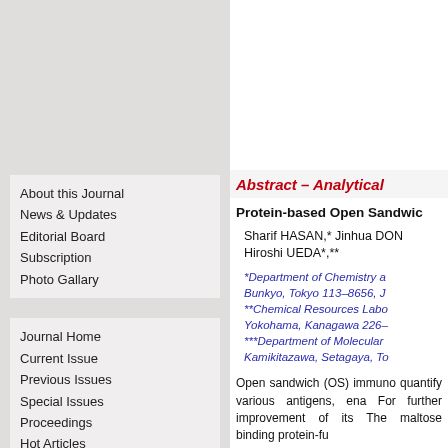About this Journal
News & Updates
Editorial Board
Subscription
Photo Gallary
Journal Home
Current Issue
Previous Issues
Special Issues
Proceedings
Hot Articles
Best Paper Award
Most Cited Paper Award
Abstract – Analytical
Protein-based Open Sandwic
Sharif HASAN,* Jinhua DON
Hiroshi UEDA*,**
*Department of Chemistry a
Bunkyo, Tokyo 113–8656, J
**Chemical Resources Labo
Yokohama, Kanagawa 226–
***Department of Molecular
Kamikitazawa, Setagaya, To
Open sandwich (OS) immuno quantify various antigens, ena For further improvement of its The maltose binding protein-fu